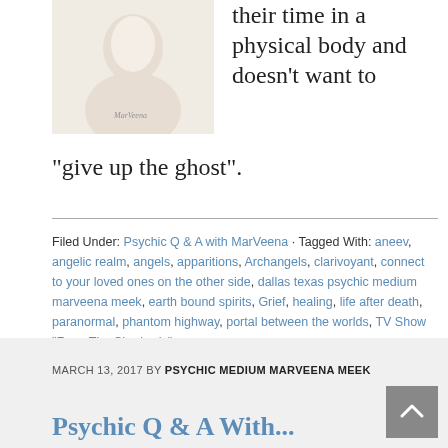[Figure (photo): Faded portrait photo of a woman with light hair, watermark text visible]
incomplete with their time in a physical body and doesn't want to "give up the ghost".
Filed Under: Psychic Q & A with MarVeena · Tagged With: aneev, angelic realm, angels, apparitions, Archangels, clarivoyant, connect to your loved ones on the other side, dallas texas psychic medium marveena meek, earth bound spirits, Grief, healing, life after death, paranormal, phantom highway, portal between the worlds, TV Show "From The Shadow's"
MARCH 13, 2017 BY PSYCHIC MEDIUM MARVEENA MEEK
Psychic Q & A With...